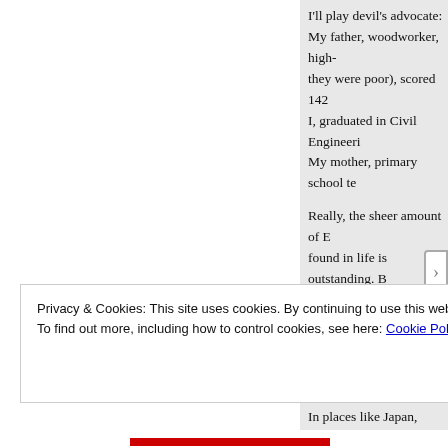I'll play devil's advocate:
My father, woodworker, high-
they were poor), scored 142
I, graduated in Civil Engineeri
My mother, primary school te

Really, the sheer amount of E
found in life is outstanding. B

Also, what I happened to see
meritocratic-system is apply
are having more children.
In places like Japan, where e
classes, often also with low IQ
social stability and high quali
Privacy & Cookies: This site uses cookies. By continuing to use this website, you agree to their use.
To find out more, including how to control cookies, see here: Cookie Policy
Close and accept